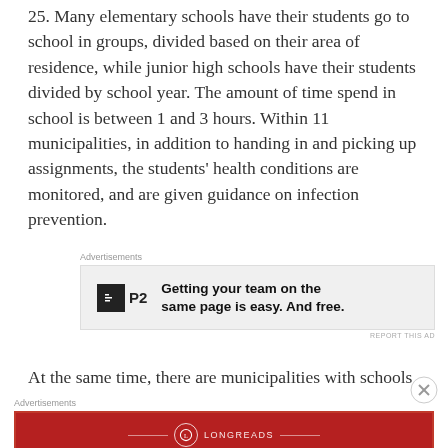25. Many elementary schools have their students go to school in groups, divided based on their area of residence, while junior high schools have their students divided by school year. The amount of time spend in school is between 1 and 3 hours. Within 11 municipalities, in addition to handing in and picking up assignments, the students' health conditions are monitored, and are given guidance on infection prevention.
[Figure (other): Advertisement banner for P2 — 'Getting your team on the same page is easy. And free.' with P2 logo (dark square with icon)]
At the same time, there are municipalities with schools
[Figure (other): Advertisement banner for Longreads — 'The best stories on the web — ours, and everyone else's.' with red background and Longreads logo]